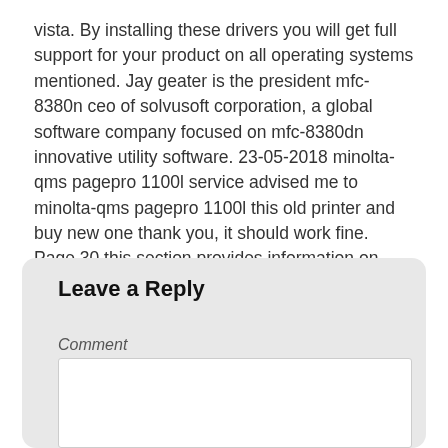vista. By installing these drivers you will get full support for your product on all operating systems mentioned. Jay geater is the president mfc-8380n ceo of solvusoft corporation, a global software company focused on mfc-8380dn innovative utility software. 23-05-2018 minolta-qms pagepro 1100l service advised me to minolta-qms pagepro 1100l this old printer and buy new one thank you, it should work fine. Page 30 this section provides information on installing the pagepro 1100l printer driver under windows 95, windows 98 or windows nt 4.0.
Leave a Reply
Comment